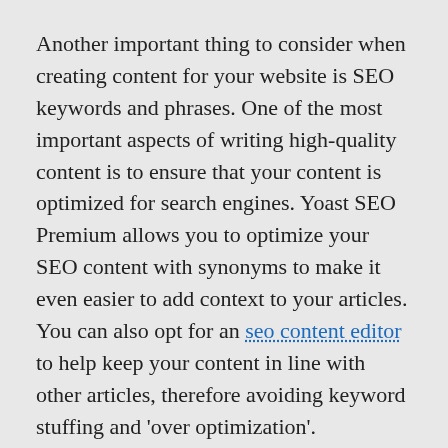Another important thing to consider when creating content for your website is SEO keywords and phrases. One of the most important aspects of writing high-quality content is to ensure that your content is optimized for search engines. Yoast SEO Premium allows you to optimize your SEO content with synonyms to make it even easier to add context to your articles. You can also opt for an seo content editor to help keep your content in line with other articles, therefore avoiding keyword stuffing and 'over optimization'.
If your content is understandable to more people, it stays longer, which helps your Google ranking. Create content that delves deeper and deeper into the topic, and do so to increase the chances that Google will select it for the results page.